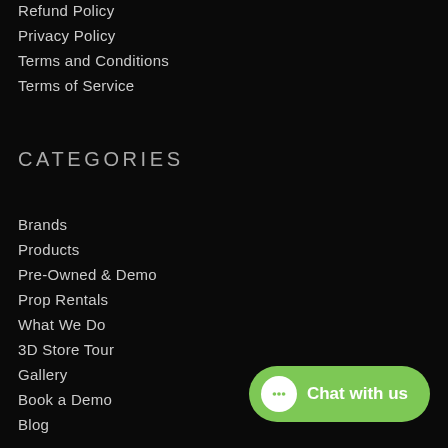Refund Policy
Privacy Policy
Terms and Conditions
Terms of Service
CATEGORIES
Brands
Products
Pre-Owned & Demo
Prop Rentals
What We Do
3D Store Tour
Gallery
Book a Demo
Blog
[Figure (other): Green chat button with speech bubble icon and text 'Chat with us']